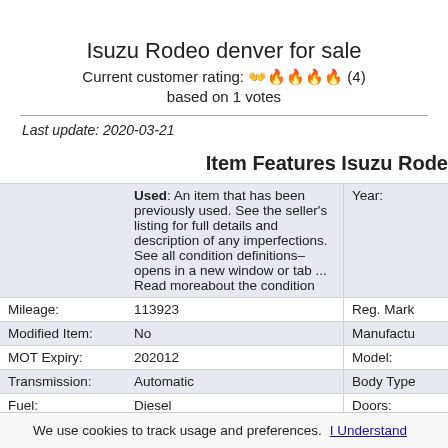Isuzu Rodeo denver for sale
Current customer rating: 👋🔥🔥🔥🔥 (4)
based on 1 votes
Last update: 2020-03-21
Item Features Isuzu Rode
|  | Description | Right Label |
| --- | --- | --- |
|  | Used: An item that has been previously used. See the seller's listing for full details and description of any imperfections. See all condition definitions– opens in a new window or tab ... Read moreabout the condition | Year: |
| Mileage: | 113923 | Reg. Mark |
| Modified Item: | No | Manufactu |
| MOT Expiry: | 202012 | Model: |
| Transmission: | Automatic | Body Type |
| Fuel: | Diesel | Doors: |
| Engine Size: | 2999 | Colour: |
| Seats: | 5 | Metallic Paint: |
We use cookies to track usage and preferences. | I Understand